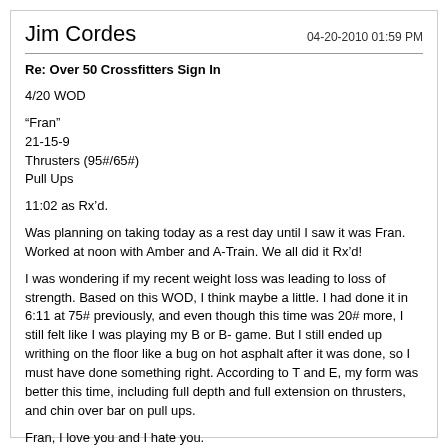Jim Cordes   04-20-2010 01:59 PM
Re: Over 50 Crossfitters Sign In
4/20 WOD
“Fran”
21-15-9
Thrusters (95#/65#)
Pull Ups
11:02 as Rx’d.
Was planning on taking today as a rest day until I saw it was Fran. Worked at noon with Amber and A-Train. We all did it Rx’d!
I was wondering if my recent weight loss was leading to loss of strength. Based on this WOD, I think maybe a little. I had done it in 6:11 at 75# previously, and even though this time was 20# more, I still felt like I was playing my B or B- game. But I still ended up writhing on the floor like a bug on hot asphalt after it was done, so I must have done something right. According to T and E, my form was better this time, including full depth and full extension on thrusters, and chin over bar on pull ups.
Fran, I love you and I hate you.
The Claw